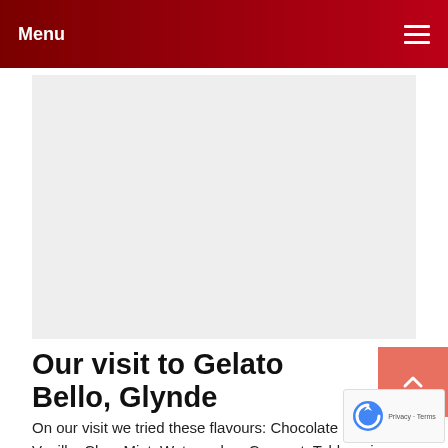Menu
[Figure (photo): Large image placeholder area with light gray background, representing a photo on a webpage about Gelato Bello, Glynde]
Our visit to Gelato Bello, Glynde
On our visit we tried these flavours: Chocolate (of c… Vanilla, Choc Mint, Watermelon, Coconut, Toblerone… Honeycomb. They were all packed full of flavour an… delicious. The kids also had their cones (dipped) for…